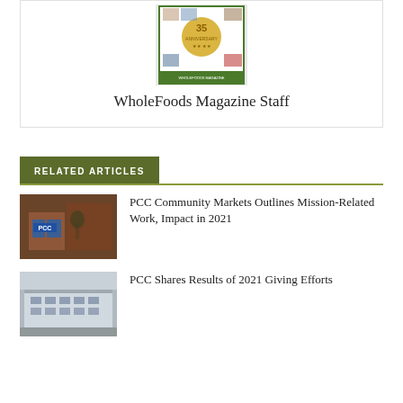[Figure (photo): WholeFoods Magazine 35th Anniversary cover image]
WholeFoods Magazine Staff
RELATED ARTICLES
[Figure (photo): PCC Community Markets storefront photo]
PCC Community Markets Outlines Mission-Related Work, Impact in 2021
[Figure (photo): PCC Community Markets building exterior photo]
PCC Shares Results of 2021 Giving Efforts